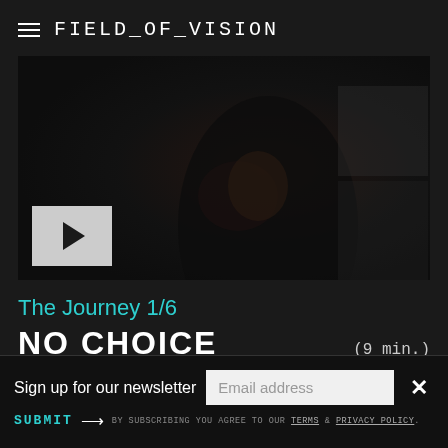FIELD_OF_VISION
[Figure (screenshot): Dark cinematic video thumbnail showing a woman in a dark jacket with a play button overlay in the bottom left corner]
The Journey 1/6
NO CHOICE (9 min.)
Matthew Cassel
Sign up for our newsletter
Email address
SUBMIT → BY SUBSCRIBING YOU AGREE TO OUR TERMS & PRIVACY POLICY.